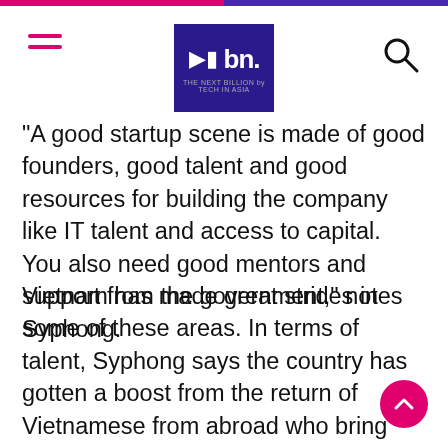bn. — The Next Billion by Tech in Asia
“A good startup scene is made of good founders, good talent and good resources for building the company like IT talent and access to capital. You also need good mentors and support from the government,” notes Syphong.
Vietnam has made great strides in some of these areas. In terms of talent, Syphong says the country has gotten a boost from the return of Vietnamese from abroad who bring with them their experience and skills amid the country’s “new era of development”.